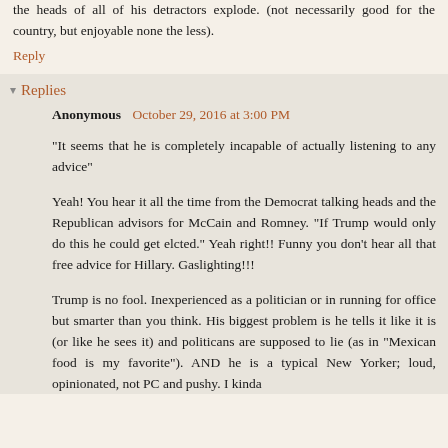the heads of all of his detractors explode. (not necessarily good for the country, but enjoyable none the less).
Reply
Replies
Anonymous  October 29, 2016 at 3:00 PM
"It seems that he is completely incapable of actually listening to any advice"
Yeah! You hear it all the time from the Democrat talking heads and the Republican advisors for McCain and Romney. "If Trump would only do this he could get elcted." Yeah right!! Funny you don't hear all that free advice for Hillary. Gaslighting!!!
Trump is no fool. Inexperienced as a politician or in running for office but smarter than you think. His biggest problem is he tells it like it is (or like he sees it) and politicans are supposed to lie (as in "Mexican food is my favorite"). AND he is a typical New Yorker; loud, opinionated, not PC and pushy. I kinda